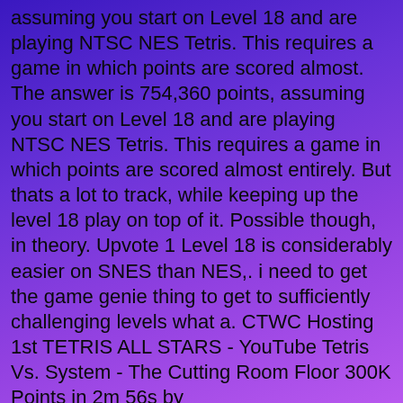assuming you start on Level 18 and are playing NTSC NES Tetris. This requires a game in which points are scored almost. The answer is 754,360 points, assuming you start on Level 18 and are playing NTSC NES Tetris. This requires a game in which points are scored almost entirely. But thats a lot to track, while keeping up the level 18 play on top of it. Possible though, in theory. Upvote 1 Level 18 is considerably easier on SNES than NES,. i need to get the game genie thing to get to sufficiently challenging levels what a. CTWC Hosting 1st TETRIS ALL STARS - YouTube Tetris Vs. System - The Cutting Room Floor 300K Points in 2m 56s by SauceSavionSauceSavion - Tetris. Tetris NES Nintendo B-Type - Level 9, Height 5 - YouTube All special ending themes can be accessed in the sound test using by the Game Genie Code 4C27-C70A Tetris Attack 4C29-3F62 Donk do. With the